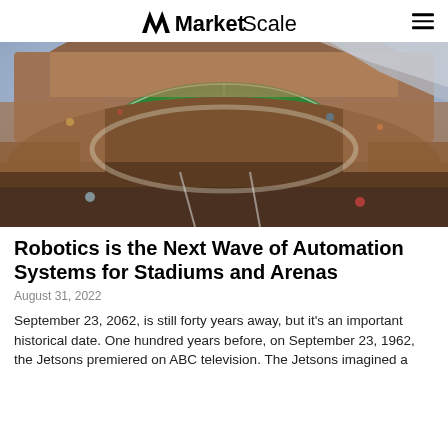MarketScale
[Figure (photo): Aerial view of a packed football/soccer stadium filled with crowds of spectators, green pitch visible in the center, taken from an elevated angle in the stands]
Robotics is the Next Wave of Automation Systems for Stadiums and Arenas
August 31, 2022
September 23, 2062, is still forty years away, but it's an important historical date. One hundred years before, on September 23, 1962, the Jetsons premiered on ABC television. The Jetsons imagined a